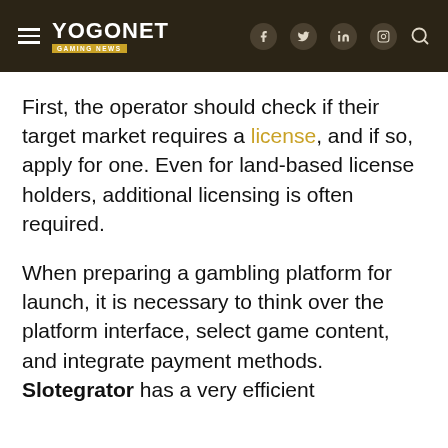YOGONET GAMING NEWS
First, the operator should check if their target market requires a license, and if so, apply for one. Even for land-based license holders, additional licensing is often required.
When preparing a gambling platform for launch, it is necessary to think over the platform interface, select game content, and integrate payment methods. Slotegrator has a very efficient turnkey...